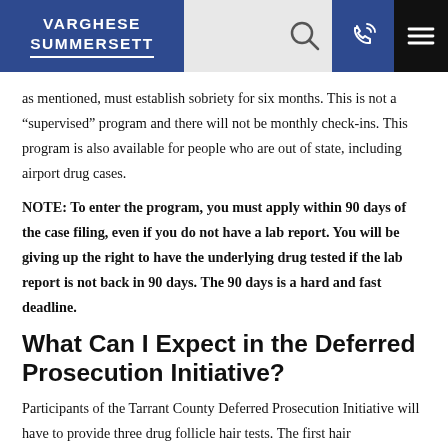VARGHESE SUMMERSETT
as mentioned, must establish sobriety for six months. This is not a “supervised” program and there will not be monthly check-ins. This program is also available for people who are out of state, including airport drug cases.
NOTE: To enter the program, you must apply within 90 days of the case filing, even if you do not have a lab report. You will be giving up the right to have the underlying drug tested if the lab report is not back in 90 days. The 90 days is a hard and fast deadline.
What Can I Expect in the Deferred Prosecution Initiative?
Participants of the Tarrant County Deferred Prosecution Initiative will have to provide three drug follicle hair tests. The first hair